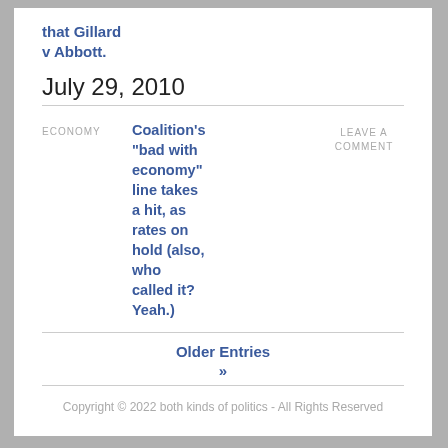that Gillard v Abbott.
July 29, 2010
ECONOMY
Coalition's “bad with economy” line takes a hit, as rates on hold (also, who called it? Yeah.)
LEAVE A COMMENT
Older Entries
»
Copyright © 2022 both kinds of politics - All Rights Reserved